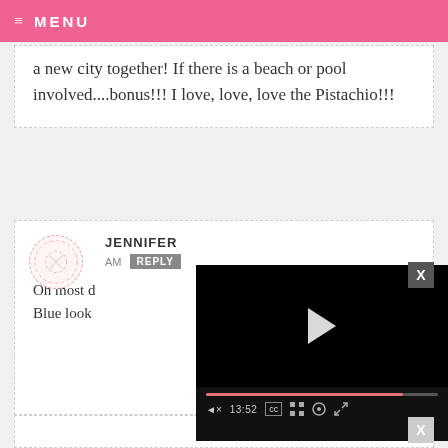≡ MENU
a new city together! If there is a beach or pool involved....bonus!!! I love, love, love the Pistachio!!!
JENNIFER
AM  REPLY
Oh most d... Blue look...
[Figure (screenshot): Video player overlay showing a black video frame with play button, progress bar at 85%, time showing 13:52, and controls for mute, CC, grid, settings, and fullscreen.]